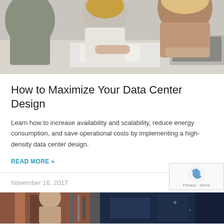[Figure (photo): Three people sitting around a table working on papers and a laptop, viewed from above/side angle]
How to Maximize Your Data Center Design
Learn how to increase availability and scalability, reduce energy consumption, and save operational costs by implementing a high-density data center design.
READ MORE »
November 16, 2017
[Figure (photo): Partial view of a person near data center equipment, with dark blue panel on the right side]